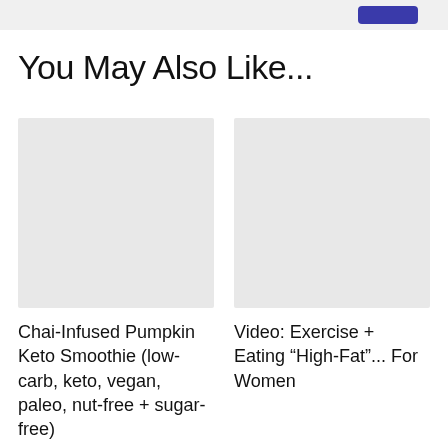[Figure (screenshot): Top banner image strip with a dark blue button element visible at top right]
You May Also Like...
[Figure (photo): Thumbnail image placeholder for Chai-Infused Pumpkin Keto Smoothie article]
Chai-Infused Pumpkin Keto Smoothie (low-carb, keto, vegan, paleo, nut-free + sugar-free)
[Figure (photo): Thumbnail image placeholder for Video: Exercise + Eating High-Fat article]
Video: Exercise + Eating “High-Fat”... For Women